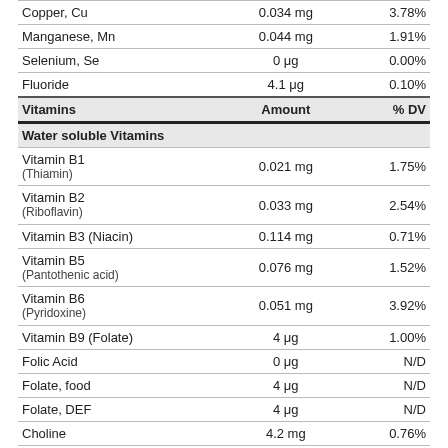| Vitamins | Amount | % DV |
| --- | --- | --- |
| Copper, Cu | 0.034 mg | 3.78% |
| Manganese, Mn | 0.044 mg | 1.91% |
| Selenium, Se | 0 μg | 0.00% |
| Fluoride | 4.1 μg | 0.10% |
| [HEADER] Vitamins | Amount | % DV |
| [SECTION] Water soluble Vitamins |  |  |
| Vitamin B1 (Thiamin) | 0.021 mg | 1.75% |
| Vitamin B2 (Riboflavin) | 0.033 mg | 2.54% |
| Vitamin B3 (Niacin) | 0.114 mg | 0.71% |
| Vitamin B5 (Pantothenic acid) | 0.076 mg | 1.52% |
| Vitamin B6 (Pyridoxine) | 0.051 mg | 3.92% |
| Vitamin B9 (Folate) | 4 μg | 1.00% |
| Folic Acid | 0 μg | N/D |
| Folate, food | 4 μg | N/D |
| Folate, DEF | 4 μg | N/D |
| Choline | 4.2 mg | 0.76% |